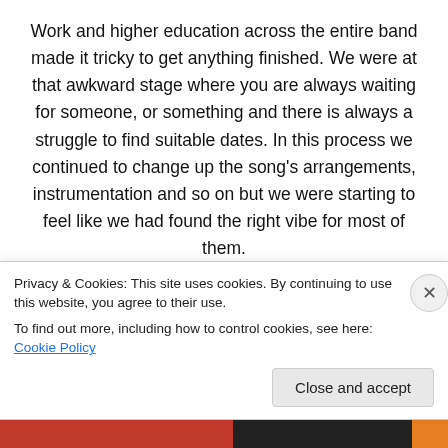Work and higher education across the entire band made it tricky to get anything finished. We were at that awkward stage where you are always waiting for someone, or something and there is always a struggle to find suitable dates. In this process we continued to change up the song's arrangements, instrumentation and so on but we were starting to feel like we had found the right vibe for most of them.
One of the latest additions to the projects was our
Privacy & Cookies: This site uses cookies. By continuing to use this website, you agree to their use.
To find out more, including how to control cookies, see here: Cookie Policy
Close and accept